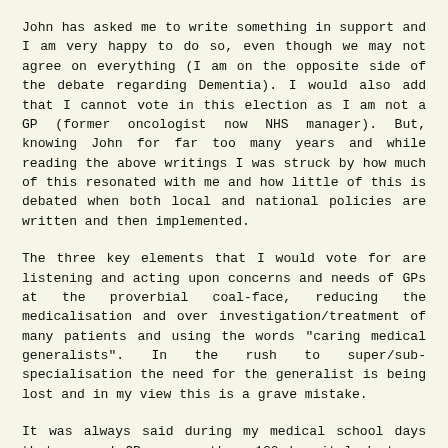John has asked me to write something in support and I am very happy to do so, even though we may not agree on everything (I am on the opposite side of the debate regarding Dementia). I would also add that I cannot vote in this election as I am not a GP (former oncologist now NHS manager). But, knowing John for far too many years and while reading the above writings I was struck by how much of this resonated with me and how little of this is debated when both local and national policies are written and then implemented.
The three key elements that I would vote for are listening and acting upon concerns and needs of GPs at the proverbial coal-face, reducing the medicalisation and over investigation/treatment of many patients and using the words "caring medical generalists". In the rush to super/sub-specialisation the need for the generalist is being lost and in my view this is a grave mistake.
It was always said during my medical school days that a good GP was worth a 100 hospital doctors, the hard part was finding a good GP. Well, in my view John is a good GP